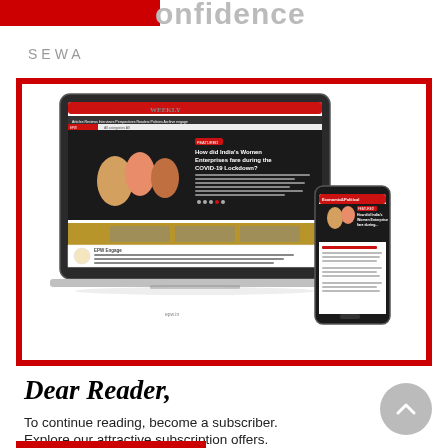onfidence
SEWA
[Figure (screenshot): Screenshot of Economic & Political Weekly website shown on a laptop and a smartphone, featuring an article about Women Entrepreneurs during the COVID-19 Lockdown]
Dear Reader,
To continue reading, become a subscriber.
Explore our attractive subscription offers.